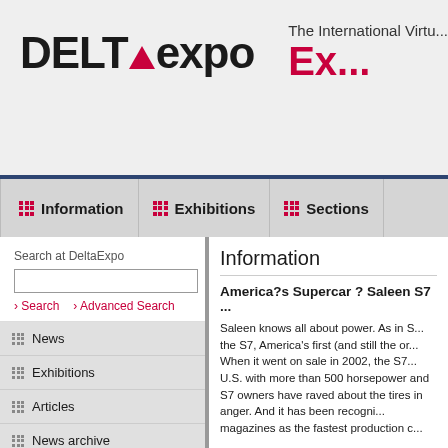DELTAexpo
The International Virtu... Ex...
Information | Exhibitions | Sections
Search at DeltaExpo
News
Exhibitions
Articles
News archive
Poll
Which luxury sedan would you buy?
Mercedes S Class
Information
America?s Supercar ? Saleen S7
Saleen knows all about power. As in S7, America's first (and still the or... When it went on sale in 2002, the S7... U.S. with more than 500 horsepower and S7 owners have raved about the tires in anger. And it has been recognized magazines as the fastest production c...
But during the past three years the automobile marketplace has witnessed an explosion of performance with models from manufacturers including Ferrari, Lamborghini, Mercedes-Benz, Porsche and Chevrolet touting power numbers above the once magic 500